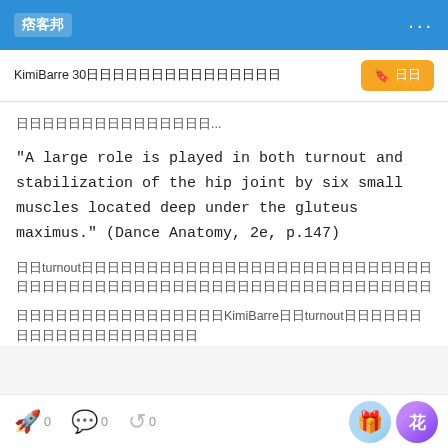痞客邦  KimiBarre 30天練習日記第一篇：關於外旋肌
其實網路上有很多相關知識的文章...
"A large role is played in both turnout and stabilization of the hip joint by six small muscles located deep under the gluteus maximus." (Dance Anatomy, 2e, p.147)
關於turnout（外旋）的知識，其實在網路上可以找到很多資料，臀部下方有六條小肌肉負責大腿骨的外旋以及髖關節的穩定
所以如果你也想透過KimiBarre來訓練turnout，就一定要了解這六條肌肉
0  0  0